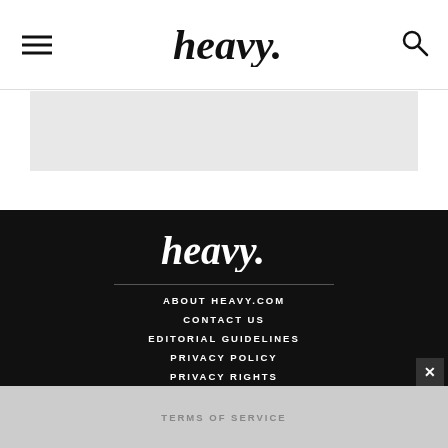heavy.
[Figure (other): Gray banner/advertisement area]
[Figure (logo): heavy. logo in white on dark background]
ABOUT HEAVY.COM
CONTACT US
EDITORIAL GUIDELINES
PRIVACY POLICY
PRIVACY RIGHTS
TERMS OF SERVICE